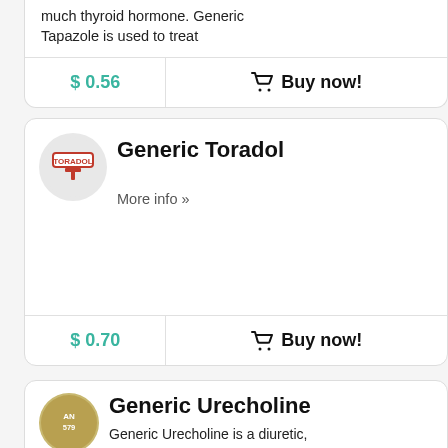much thyroid hormone. Generic Tapazole is used to treat
$ 0.56
Buy now!
Generic Toradol
More info »
$ 0.70
Buy now!
Generic Urecholine
Generic Urecholine is a diuretic,